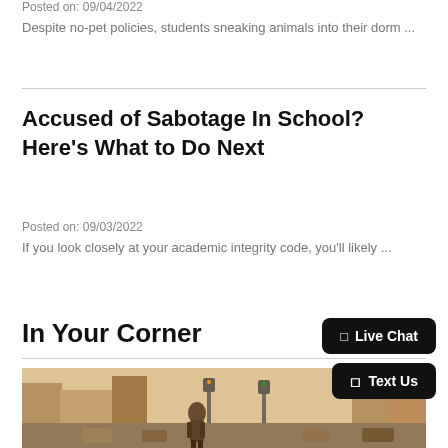Posted on: 09/04/2022
Despite no-pet policies, students sneaking animals into their dorm ...
Accused of Sabotage In School? Here’s What to Do Next
Posted on: 09/03/2022
If you look closely at your academic integrity code, you'll likely ...
In Your Corner
[Figure (photo): Street scene photo showing a man in a suit walking on a busy city street with traffic lights and buildings in warm sepia/golden tones]
Live Chat
Text Us